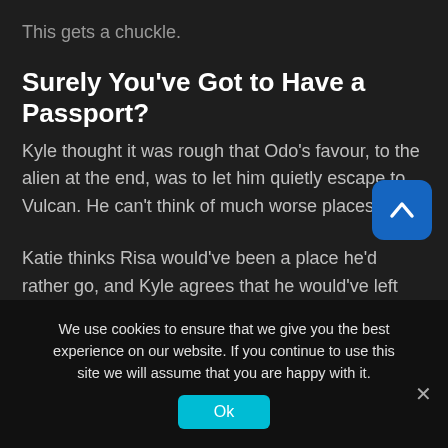This gets a chuckle.
Surely You've Got to Have a Passport?
Kyle thought it was rough that Odo's favour, to the alien at the end, was to let him quietly escape to Vulcan. He can't think of much worse places to go.
Katie thinks Risa would've been a place he'd rather go, and Kyle agrees that he would've left Vulcan as soon as he arrived there.
We use cookies to ensure that we give you the best experience on our website. If you continue to use this site we will assume that you are happy with it.